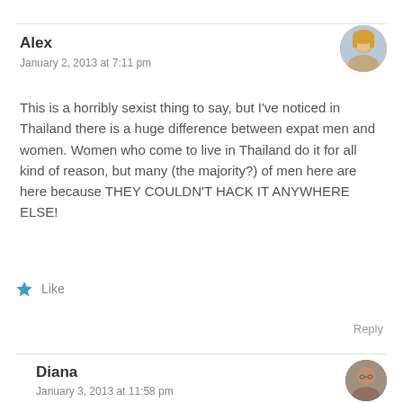Alex
January 2, 2013 at 7:11 pm
This is a horribly sexist thing to say, but I've noticed in Thailand there is a huge difference between expat men and women. Women who come to live in Thailand do it for all kind of reason, but many (the majority?) of men here are here because THEY COULDN'T HACK IT ANYWHERE ELSE!
Like
Reply
Diana
January 3, 2013 at 11:58 pm